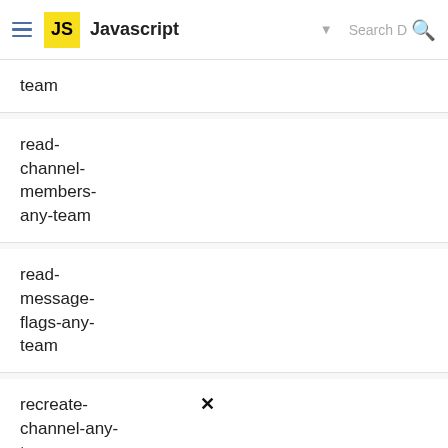Javascript
team
read-channel-members-any-team
read-message-flags-any-team
recreate-channel-any-team
recreate-